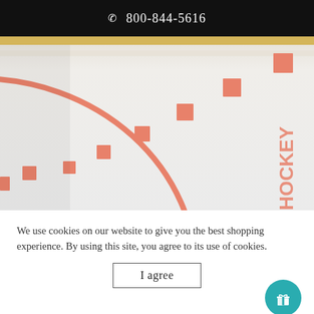800-844-5616
[Figure (photo): Close-up photo of a hockey rink floor surface showing orange/salmon colored markings including a face-off circle and dotted lines on a white/grey surface]
We use cookies on our website to give you the best shopping experience. By using this site, you agree to its use of cookies.
I agree
CP-4210-CPP-54003
Face Off Hockey Printed Photography Panel